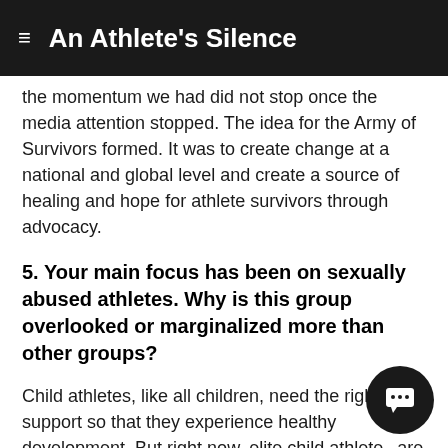An Athlete's Silence
the momentum we had did not stop once the media attention stopped. The idea for the Army of Survivors formed. It was to create change at a national and global level and create a source of healing and hope for athlete survivors through advocacy.
5. Your main focus has been on sexually abused athletes. Why is this group overlooked or marginalized more than other groups?
Child athletes, like all children, need the right support so that they experience healthy development. But right now, elite child athletes are at risk for experiences that harm their development, including physical injury, psychological burnout, and abuse (emotional